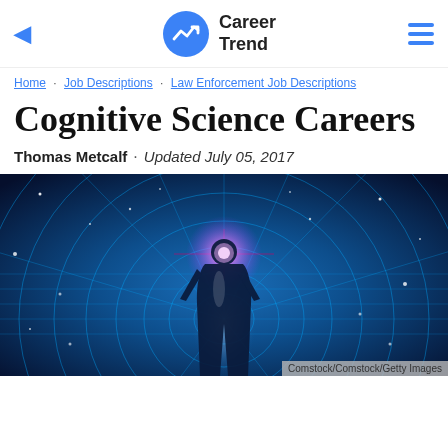Career Trend
Home · Job Descriptions · Law Enforcement Job Descriptions
Cognitive Science Careers
Thomas Metcalf · Updated July 05, 2017
[Figure (illustration): Silhouette of a human figure with a glowing magenta light at the head, surrounded by concentric blue circular grid lines radiating outward on a deep blue background with star-like light points. Caption: Comstock/Comstock/Getty Images]